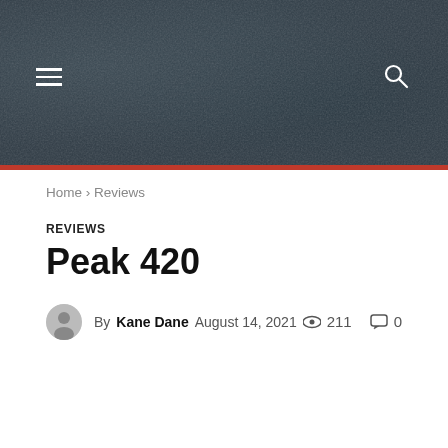[Figure (photo): Dark textured banner header with noise/grain effect in dark blue-gray tones. Hamburger menu icon on left, search icon on right.]
Home › Reviews
REVIEWS
Peak 420
By Kane Dane  August 14, 2021  👁 211  💬 0